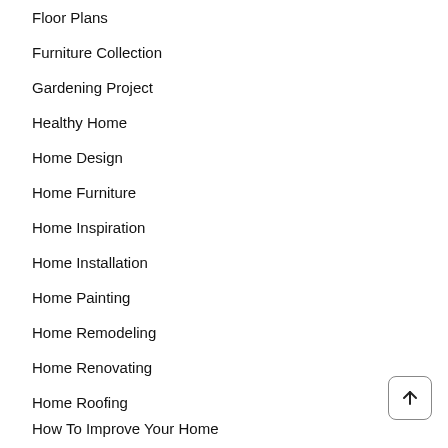Floor Plans
Furniture Collection
Gardening Project
Healthy Home
Home Design
Home Furniture
Home Inspiration
Home Installation
Home Painting
Home Remodeling
Home Renovating
Home Roofing
How To Improve Your Home